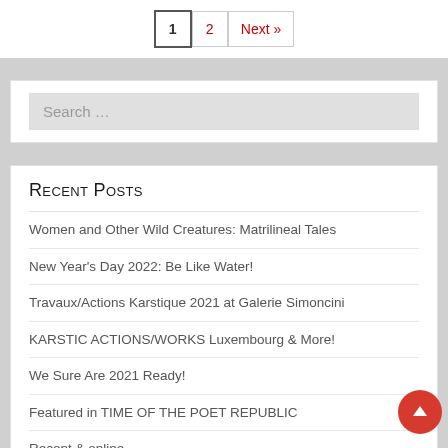1  2  Next »
Search …
Recent Posts
Women and Other Wild Creatures: Matrilineal Tales
New Year's Day 2022: Be Like Water!
Travaux/Actions Karstique 2021 at Galerie Simoncini
KARSTIC ACTIONS/WORKS Luxembourg & More!
We Sure Are 2021 Ready!
Featured in TIME OF THE POET REPUBLIC
Recent & online
Voilà! Live Cooking Videos – while confined
11 Women of Spirit at Salon Zürcher & Karstic-Action
Happy 2020 & more!